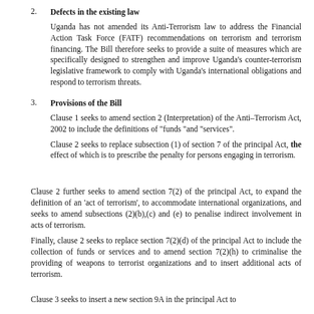2. Defects in the existing law
Uganda has not amended its Anti-Terrorism law to address the Financial Action Task Force (FATF) recommendations on terrorism and terrorism financing. The Bill therefore seeks to provide a suite of measures which are specifically designed to strengthen and improve Uganda's counter-terrorism legislative framework to comply with Uganda's international obligations and respond to terrorism threats.
3. Provisions of the Bill
Clause 1 seeks to amend section 2 (Interpretation) of the Anti-Terrorism Act, 2002 to include the definitions of "funds" and "services".

Clause 2 seeks to replace subsection (1) of section 7 of the principal Act, the effect of which is to prescribe the penalty for persons engaging in terrorism.
Clause 2 further seeks to amend section 7(2) of the principal Act, to expand the definition of an 'act of terrorism', to accommodate international organizations, and seeks to amend subsections (2)(b),(c) and (e) to penalise indirect involvement in acts of terrorism.
Finally, clause 2 seeks to replace section 7(2)(d) of the principal Act to include the collection of funds or services and to amend section 7(2)(h) to criminalise the providing of weapons to terrorist organizations and to insert additional acts of terrorism.
Clause 3 seeks to insert a new section 9A in the principal Act to